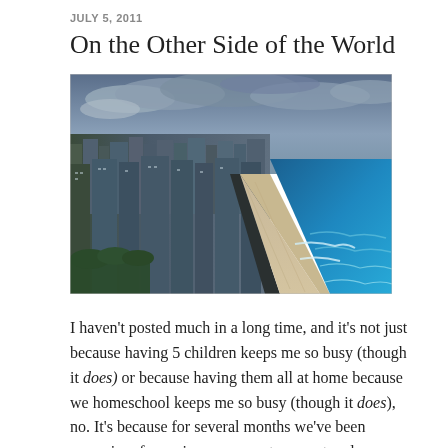JULY 5, 2011
On the Other Side of the World
[Figure (photo): Aerial photograph of a coastal city skyline with tall buildings on the left, a wide sandy beach in the middle, and turquoise ocean on the right under a cloudy sky.]
I haven't posted much in a long time, and it's not just because having 5 children keeps me so busy (though it does) or because having them all at home because we homeschool keeps me so busy (though it does), no. It's because for several months we've been preparing, for various reasons, to uproot and move away from our home in Israel all the way to the other side of the world. Back to